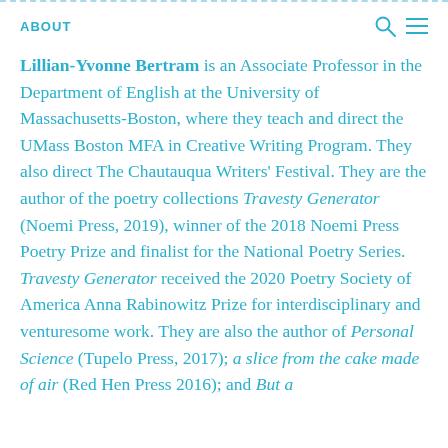ABOUT
Lillian-Yvonne Bertram is an Associate Professor in the Department of English at the University of Massachusetts-Boston, where they teach and direct the UMass Boston MFA in Creative Writing Program. They also direct The Chautauqua Writers' Festival. They are the author of the poetry collections Travesty Generator (Noemi Press, 2019), winner of the 2018 Noemi Press Poetry Prize and finalist for the National Poetry Series. Travesty Generator received the 2020 Poetry Society of America Anna Rabinowitz Prize for interdisciplinary and venturesome work. They are also the author of Personal Science (Tupelo Press, 2017); a slice from the cake made of air (Red Hen Press 2016); and But a